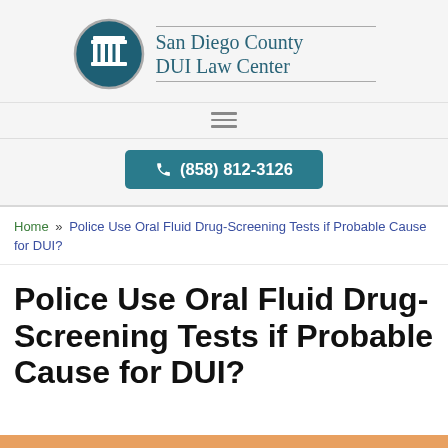San Diego County DUI Law Center
(858) 812-3126
Home » Police Use Oral Fluid Drug-Screening Tests if Probable Cause for DUI?
Police Use Oral Fluid Drug-Screening Tests if Probable Cause for DUI?